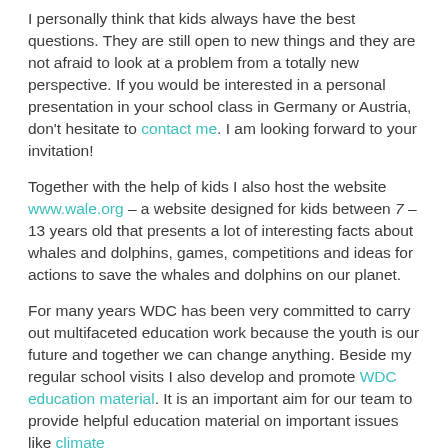I personally think that kids always have the best questions. They are still open to new things and they are not afraid to look at a problem from a totally new perspective. If you would be interested in a personal presentation in your school class in Germany or Austria, don't hesitate to contact me. I am looking forward to your invitation!
Together with the help of kids I also host the website www.wale.org – a website designed for kids between 7 – 13 years old that presents a lot of interesting facts about whales and dolphins, games, competitions and ideas for actions to save the whales and dolphins on our planet.
For many years WDC has been very committed to carry out multifaceted education work because the youth is our future and together we can change anything. Beside my regular school visits I also develop and promote WDC education material. It is an important aim for our team to provide helpful education material on important issues like climate change, plastic pollution, the number of dolphins and...